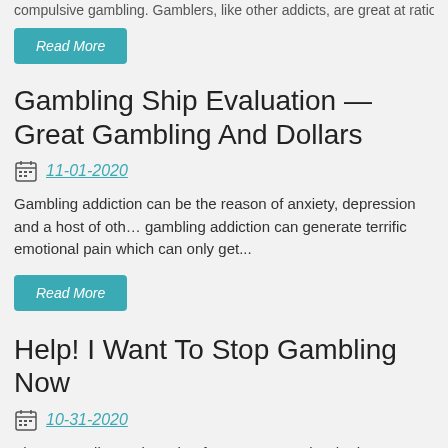compulsive gambling. Gamblers, like other addicts, are great at rationaliz...
Read More
Gambling Ship Evaluation — Great Gambling And Dollars
11-01-2020
Gambling addiction can be the reason of anxiety, depression and a host of other issues. gambling addiction can generate terrific emotional pain which can only get...
Read More
Help! I Want To Stop Gambling Now
10-31-2020
Those are all questions that face many people who have started the long slide into compulsive gambling. Gamblers, like other addicts, pengeluaran hk hari ini...